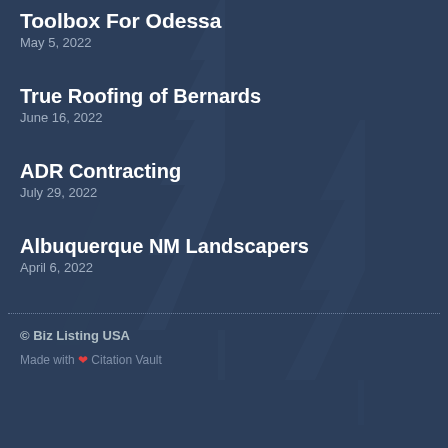Toolbox For Odessa
May 5, 2022
True Roofing of Bernards
June 16, 2022
ADR Contracting
July 29, 2022
Albuquerque NM Landscapers
April 6, 2022
© Biz Listing USA
Made with ❤ Citation Vault